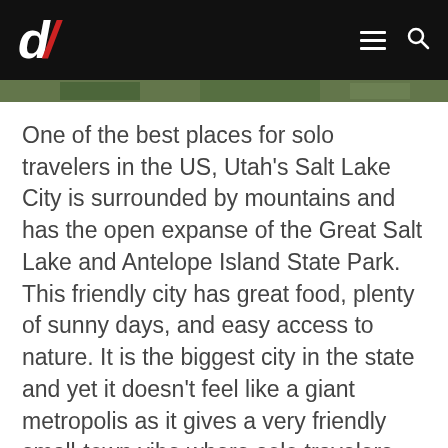d/ [logo] [hamburger menu] [search icon]
[Figure (photo): Partial image strip showing outdoor/nature scenery, cropped at top of page]
One of the best places for solo travelers in the US, Utah’s Salt Lake City is surrounded by mountains and has the open expanse of the Great Salt Lake and Antelope Island State Park. This friendly city has great food, plenty of sunny days, and easy access to nature. It is the biggest city in the state and yet it doesn’t feel like a giant metropolis as it gives a very friendly small-town vibe where solo travelers can wander around safely. You can explore various museums, unique architecture, and the rich history of the